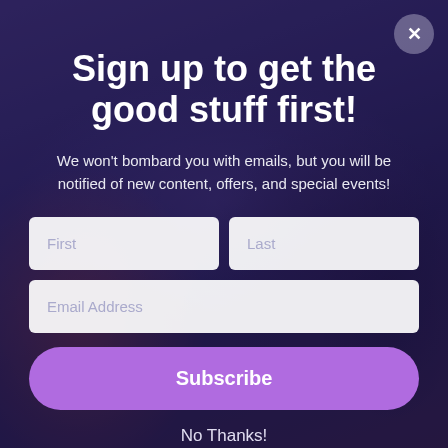Sign up to get the good stuff first!
We won't bombard you with emails, but you will be notified of new content, offers, and special events!
First
Last
Email Address
Subscribe
No Thanks!